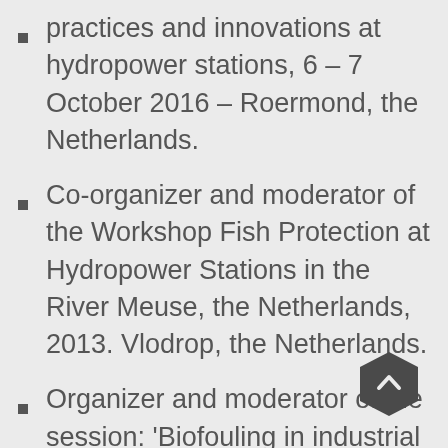practices and innovations at hydropower stations, 6 – 7 October 2016 – Roermond, the Netherlands.
Co-organizer and moderator of the Workshop Fish Protection at Hydropower Stations in the River Meuse, the Netherlands, 2013. Vlodrop, the Netherlands.
Organizer and moderator of the session: 'Biofouling in industrial cooling water systems'. Organised for the 15th International Congress on Marine Corrosion and Fouling, July 25 – 29, 2010. The Sage Gateshead, Newcastle, United
[Figure (other): Dark hexagonal scroll-to-top button with upward chevron arrow]